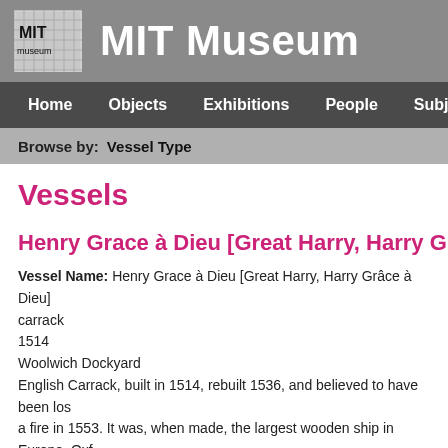[Figure (logo): MIT Museum logo — white square with grid pattern and 'MIT museum' text, followed by large white 'MIT Museum' text on grey background]
Home  Objects  Exhibitions  People  Subjects  Sites  V
Browse by:   Vessel Type
Vessels
Henry Grace à Dieu [Great Harry, Harry Grâce
Vessel Name: Henry Grace à Dieu [Great Harry, Harry Grâce à Dieu] carrack 1514 Woolwich Dockyard English Carrack, built in 1514, rebuilt 1536, and believed to have been lost in a fire in 1553. It was, when made, the largest wooden ship in Europe. Oxford Reference: In her day the largest warship in the world, was launched at Erith in Kent, in June 1514. She was in her time, and still is, widely known under the name Great Harry. She was built by William Bond, master shipwright.